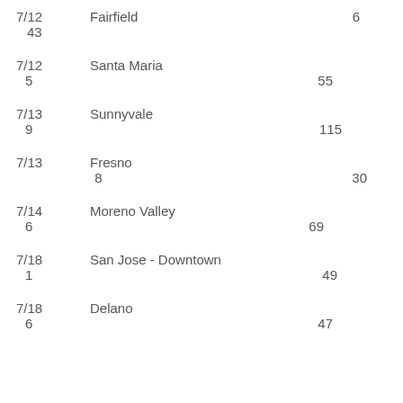| Date | City | Number |
| --- | --- | --- |
| 7/12 | Fairfield | 6 / 43 |
| 7/12 | Santa Maria | 55 / 5 |
| 7/13 | Sunnyvale | 115 / 9 |
| 7/13 | Fresno | 30 / 8 |
| 7/14 | Moreno Valley | 69 / 6 |
| 7/18 | San Jose - Downtown | 49 / 1 |
| 7/18 | Delano | 47 / 6 |